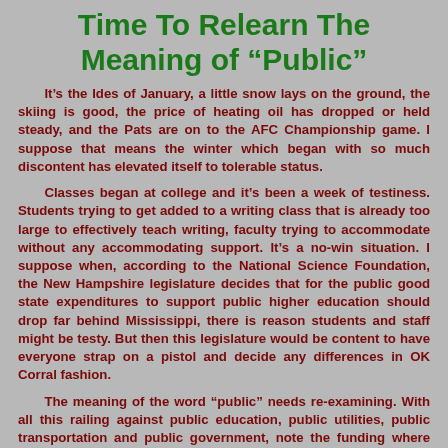Time To Relearn The Meaning of “Public”
It’s the Ides of January, a little snow lays on the ground, the skiing is good, the price of heating oil has dropped or held steady, and the Pats are on to the AFC Championship game. I suppose that means the winter which began with so much discontent has elevated itself to tolerable status.
Classes began at college and it’s been a week of testiness. Students trying to get added to a writing class that is already too large to effectively teach writing, faculty trying to accommodate without any accommodating support. It’s a no-win situation. I suppose when, according to the National Science Foundation, the New Hampshire legislature decides that for the public good state expenditures to support public higher education should drop far behind Mississippi, there is reason students and staff might be testy. But then this legislature would be content to have everyone strap on a pistol and decide any differences in OK Corral fashion.
The meaning of the word “public” needs re-examining. With all this railing against public education, public utilities, public transportation and public government, note the funding where most of that railing comes from: Private airwaves, private parties, private